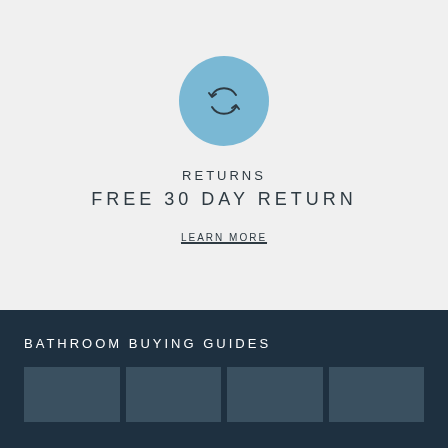[Figure (illustration): Blue circle with two circular arrows (returns/refresh icon)]
RETURNS
FREE 30 DAY RETURN
LEARN MORE
BATHROOM BUYING GUIDES
[Figure (photo): Row of bathroom buying guide thumbnail images]